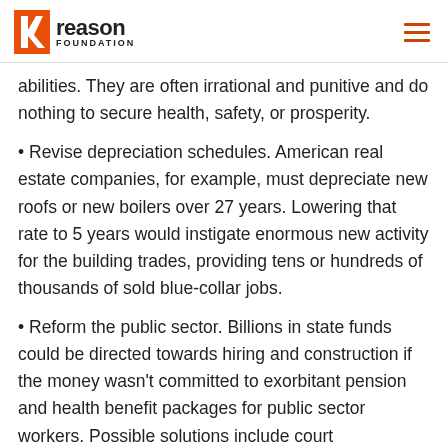Reason Foundation
abilities. They are often irrational and punitive and do nothing to secure health, safety, or prosperity.
• Revise depreciation schedules. American real estate companies, for example, must depreciate new roofs or new boilers over 27 years. Lowering that rate to 5 years would instigate enormous new activity for the building trades, providing tens or hundreds of thousands of sold blue-collar jobs.
• Reform the public sector. Billions in state funds could be directed towards hiring and construction if the money wasn't committed to exorbitant pension and health benefit packages for public sector workers. Possible solutions include court